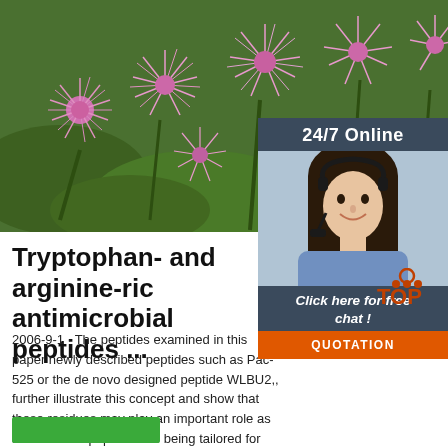[Figure (photo): Close-up photo of pink fluffy flowers (Ageratum-like) with green leaves background]
[Figure (photo): Sidebar widget with dark background showing '24/7 Online' text, photo of a female customer support agent with headset smiling, 'Click here for free chat!' text, and orange QUOTATION button]
Tryptophan- and arginine-rich antimicrobial peptides ...
2006-9-1 · The peptides examined in this paper newly described peptides such as Pac-525 or the de novo designed peptide WLBU2,, further illustrate this concept and show that these residues may play an important role as antimicrobial peptides are being tailored for clinical use. Additionally, many of the peptides discussed here consist of ...